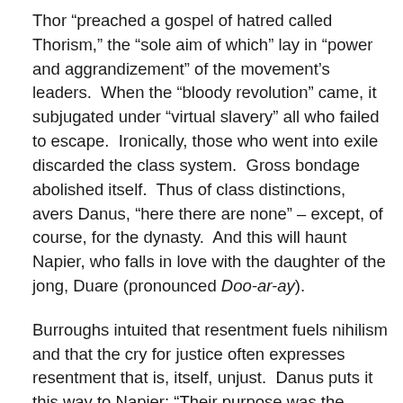Thor “preached a gospel of hatred called Thorism,” the “sole aim of which” lay in “power and aggrandizement” of the movement’s leaders.  When the “bloody revolution” came, it subjugated under “virtual slavery” all who failed to escape.  Ironically, those who went into exile discarded the class system.  Gross bondage abolished itself.  Thus of class distinctions, avers Danus, “here there are none” – except, of course, for the dynasty.  And this will haunt Napier, who falls in love with the daughter of the jong, Duare (pronounced Doo-ar-ay).
Burroughs intuited that resentment fuels nihilism and that the cry for justice often expresses resentment that is, itself, unjust.  Danus puts it this way to Napier: “Their purpose was the absolute destruction of the cultured class.”  Anyone who sided with culture against the revolution would also be “subjugated or destroyed.”  The